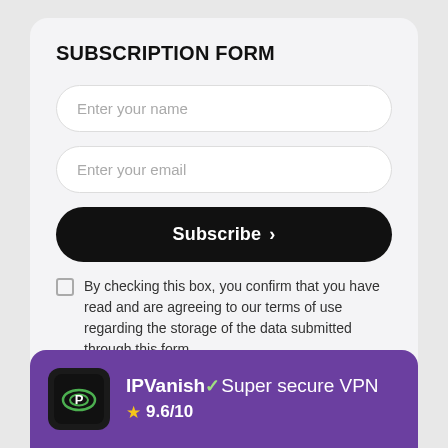SUBSCRIPTION FORM
Enter your name
Enter your email
Subscribe >
By checking this box, you confirm that you have read and are agreeing to our terms of use regarding the storage of the data submitted through this form.
[Figure (screenshot): IPVanish VPN advertisement banner with purple background, black logo with P icon, text 'IPVanish ✓ Super secure VPN' and star rating '9.6/10']